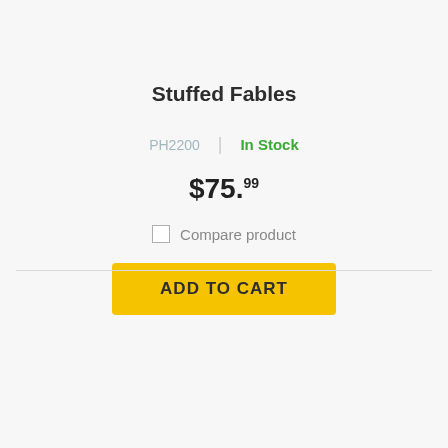Stuffed Fables
PH2200  |  In Stock
$75.99
Compare product
ADD TO CART